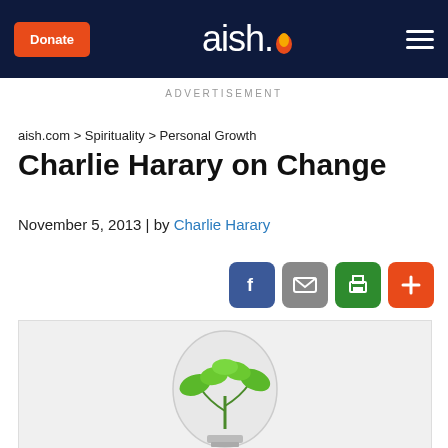aish. [logo] | Donate | [hamburger menu]
ADVERTISEMENT
aish.com > Spirituality > Personal Growth
Charlie Harary on Change
November 5, 2013 | by Charlie Harary
[Figure (other): Social share buttons: Facebook (blue), Email (gray), Print (green), Plus/More (orange-red)]
[Figure (photo): Photo of a green seedling plant growing inside a glass light bulb, symbolizing growth and change, on a white background.]